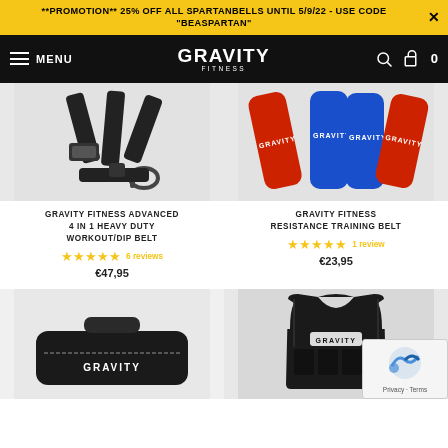**PROMOTION** 25% OFF ALL SPARTANBELLS UNTIL 5/9/22 - USE CODE "BEASPARTAN"
MENU | GRAVITY FITNESS | 🔍 | 🛒 0
[Figure (photo): Black workout/dip belt with straps and D-ring]
[Figure (photo): Gravity Fitness resistance bands in red and blue colors]
GRAVITY FITNESS ADVANCED 4 IN 1 HEAVY DUTY WORKOUT/DIP BELT
★★★★★ 6 reviews
€47,95
GRAVITY FITNESS RESISTANCE TRAINING BELT
★★★★★ 1 review
€23,95
[Figure (photo): Gravity Fitness black equipment bag with white logo]
[Figure (photo): Black Gravity Fitness weighted vest]